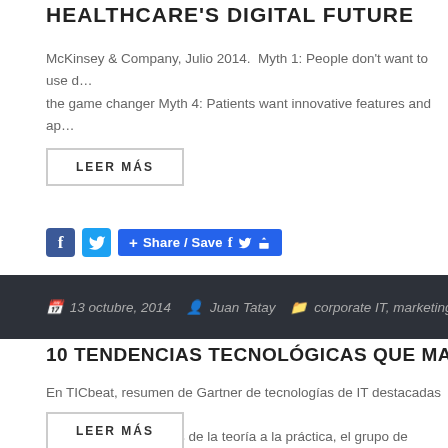HEALTHCARE'S DIGITAL FUTURE
McKinsey & Company, Julio 2014. Myth 1: People don't want to use d… the game changer Myth 4: Patients want innovative features and ap…
LEER MÁS
Share / Save
13 octubre, 2014  Juan Tatay  corporate IT, marketing, opi…
10 TENDENCIAS TECNOLÓGICAS QUE MARCARÁ…
En TICbeat, resumen de Gartner de tecnologías de IT destacadas pa… oportunidades digitales de la teoría a la práctica, el grupo de Gartn… estratégicas para el 2015….
LEER MÁS